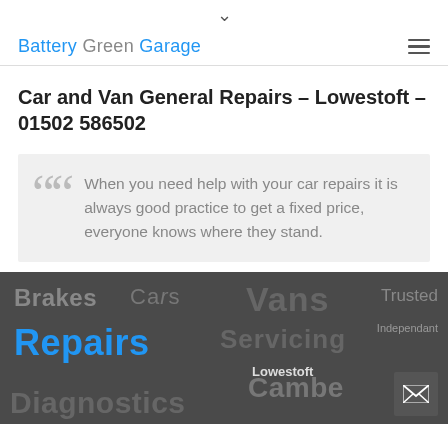▾
Battery Green Garage
Car and Van General Repairs – Lowestoft – 01502 586502
When you need help with your car repairs it is always good practice to get a fixed price, everyone knows where they stand.
[Figure (infographic): Dark banner with word cloud style text showing: Brakes, Cars, Vans, Trusted, Repairs (blue), Servicing, Independant, Lowestoft, Cambe, Diagnostics. Includes envelope/mail button in bottom right corner.]